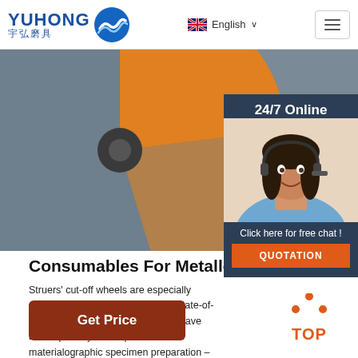[Figure (logo): Yuhong 宇弘磨具 logo with blue wave icon and English language selector with hamburger menu]
[Figure (photo): Close-up of a Struers abrasive cut-off wheel showing orange and grey sections with safety warning text and safety icons]
[Figure (infographic): 24/7 Online chat widget showing a customer service agent with headset, 'Click here for free chat!' text and orange QUOTATION button]
Consumables For Metallographic
Struers' cut-off wheels are especially designed for machines, including state-of-the-art abrasive techniques. They have been specially developed for materialographic specimen preparation – producing specimens that are in perfect condition for the next preparation step.
[Figure (other): Get Price button (dark red/brown rounded rectangle)]
[Figure (other): Orange TOP back-to-top button with upward pointing triangle dots]